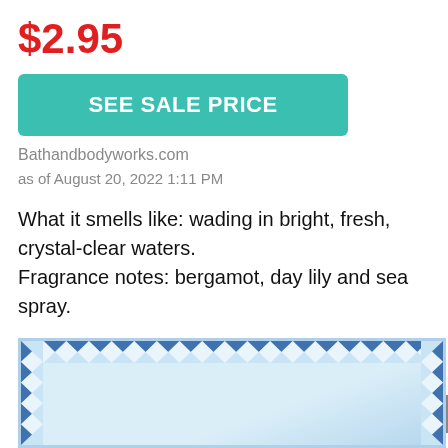$2.95
SEE SALE PRICE
Bathandbodyworks.com
as of August 20, 2022 1:11 PM
What it smells like: wading in bright, fresh, crystal-clear waters.
Fragrance notes: bergamot, day lily and sea spray.
[Figure (photo): Product image with blue geometric diamond-pattern border and light blue background, partially visible at bottom of page]